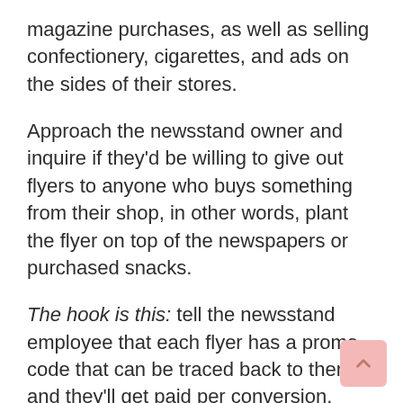magazine purchases, as well as selling confectionery, cigarettes, and ads on the sides of their stores.
Approach the newsstand owner and inquire if they'd be willing to give out flyers to anyone who buys something from their shop, in other words, plant the flyer on top of the newspapers or purchased snacks.
The hook is this: tell the newsstand employee that each flyer has a promo code that can be traced back to them, and they'll get paid per conversion.
We've all got side-gigs these days and that's why you can only but ask.